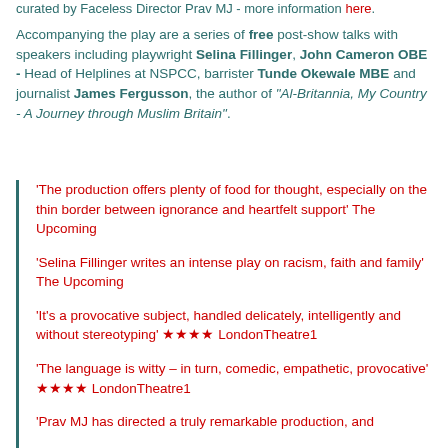curated by Faceless Director Prav MJ - more information here.
Accompanying the play are a series of free post-show talks with speakers including playwright Selina Fillinger, John Cameron OBE - Head of Helplines at NSPCC, barrister Tunde Okewale MBE and journalist James Fergusson, the author of "Al-Britannia, My Country - A Journey through Muslim Britain".
‘The production offers plenty of food for thought, especially on the thin border between ignorance and heartfelt support’ The Upcoming
‘Selina Fillinger writes an intense play on racism, faith and family’ The Upcoming
‘It’s a provocative subject, handled delicately, intelligently and without stereotyping’ ★★★★ LondonTheatre1
‘The language is witty – in turn, comedic, empathetic, provocative’ ★★★★ LondonTheatre1
‘Prav MJ has directed a truly remarkable production, and